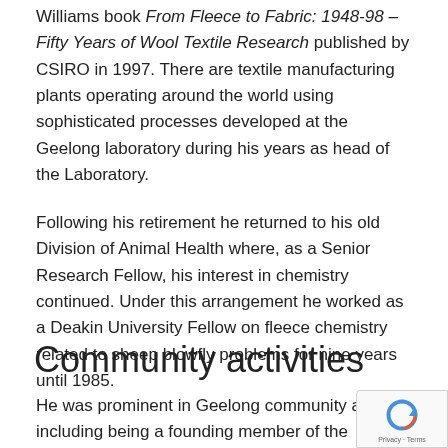Williams book From Fleece to Fabric: 1948-98 – Fifty Years of Wool Textile Research published by CSIRO in 1997. There are textile manufacturing plants operating around the world using sophisticated processes developed at the Geelong laboratory during his years as head of the Laboratory.
Following his retirement he returned to his old Division of Animal Health where, as a Senior Research Fellow, his interest in chemistry continued. Under this arrangement he worked as a Deakin University Fellow on fleece chemistry related to sheep blowfly problems for nine years until 1985.
Community activities
He was prominent in Geelong community affairs including being a founding member of the Geelong University Committee responsible for the eventual